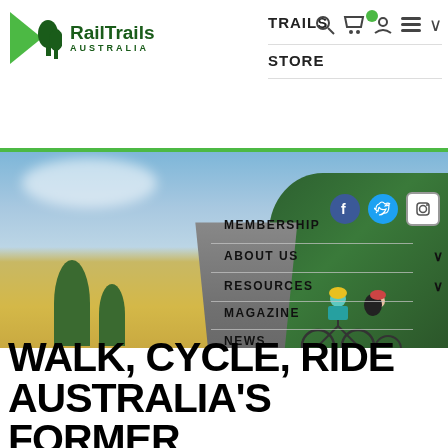[Figure (screenshot): RailTrails Australia website header with logo (green tree icon with RailTrails Australia text), navigation menu items (TRAILS, STORE, MEMBERSHIP, ABOUT US, RESOURCES, MAGAZINE, NEWS, ADVERTISE), social media icons (Facebook, Twitter, Instagram), and a hero image showing cyclists on a rail trail with countryside landscape]
WALK, CYCLE, RIDE AUSTRALIA'S FORMER